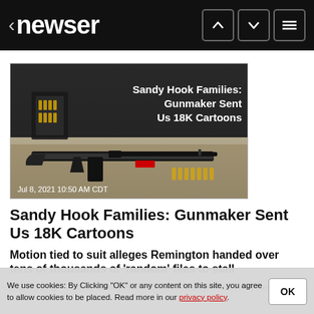< newser
[Figure (photo): Photo of an AR-style rifle on a table with ammunition and gun accessories, with overlay text: 'Sandy Hook Families: Gunmaker Sent Us 18K Cartoons'. Date stamp: Jul 8, 2021 10:50 AM CDT]
Sandy Hook Families: Gunmaker Sent Us 18K Cartoons
Motion tied to suit alleges Remington handed over tens of thousands of 'random' files to stall
(NEWSER) – ... nine Sandy Hook families has spent seven years pulling
We use cookies: By Clicking "OK" or any content on this site, you agree to allow cookies to be placed. Read more in our privacy policy.